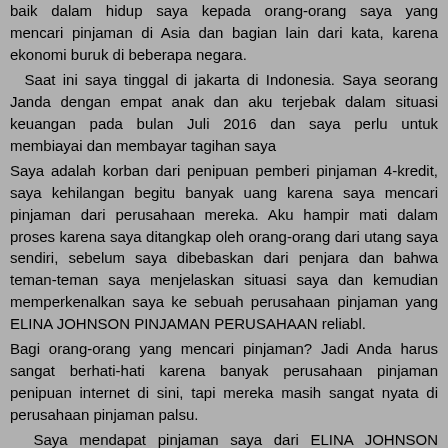baik dalam hidup saya kepada orang-orang saya yang mencari pinjaman di Asia dan bagian lain dari kata, karena ekonomi buruk di beberapa negara.
Saat ini saya tinggal di jakarta di Indonesia. Saya seorang Janda dengan empat anak dan aku terjebak dalam situasi keuangan pada bulan Juli 2016 dan saya perlu untuk membiayai dan membayar tagihan saya
Saya adalah korban dari penipuan pemberi pinjaman 4-kredit, saya kehilangan begitu banyak uang karena saya mencari pinjaman dari perusahaan mereka. Aku hampir mati dalam proses karena saya ditangkap oleh orang-orang dari utang saya sendiri, sebelum saya dibebaskan dari penjara dan bahwa teman-teman saya menjelaskan situasi saya dan kemudian memperkenalkan saya ke sebuah perusahaan pinjaman yang ELINA JOHNSON PINJAMAN PERUSAHAAN reliabl.
Bagi orang-orang yang mencari pinjaman? Jadi Anda harus sangat berhati-hati karena banyak perusahaan pinjaman penipuan internet di sini, tapi mereka masih sangat nyata di perusahaan pinjaman palsu.
Saya mendapat pinjaman saya dari ELINA JOHNSON PINJAMAN PERUSAHAAN Rp500.000.000 sangat mudah dalam waktu 24 jam yang saya diterapkan, jadi saya